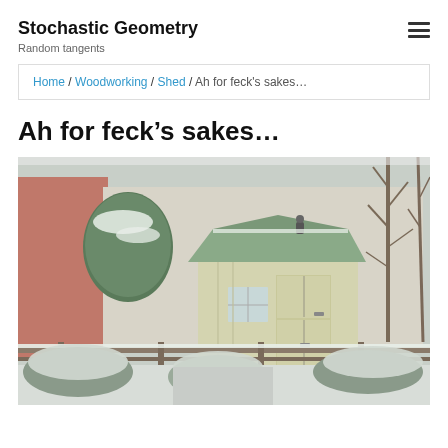Stochastic Geometry
Random tangents
Home / Woodworking / Shed / Ah for feck's sakes…
Ah for feck's sakes…
[Figure (photo): A garden shed covered in snow, with snow-laden bushes, bare trees, and a brick building in the background. The shed has a green roof and cream-coloured walls with vertical timber cladding.]